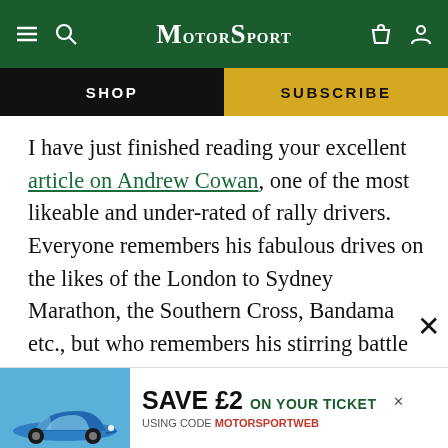MotorSport
SHOP
SUBSCRIBE
I have just finished reading your excellent article on Andrew Cowan, one of the most likeable and under-rated of rally drivers. Everyone remembers his fabulous drives on the likes of the London to Sydney Marathon, the Southern Cross, Bandama etc., but who remembers his stirring battle with Simo Lampinen to second place on the 1969 Scottish, with what was probably the last works Imp falling to pieces around him? Or his magnificent drive with the unwieldy Tiger to 11th place and seco... Mont... 'sy'
[Figure (screenshot): Advertisement banner: Save £2 on your ticket using code MOTORSPORTWEB, with a blue Porsche car image]